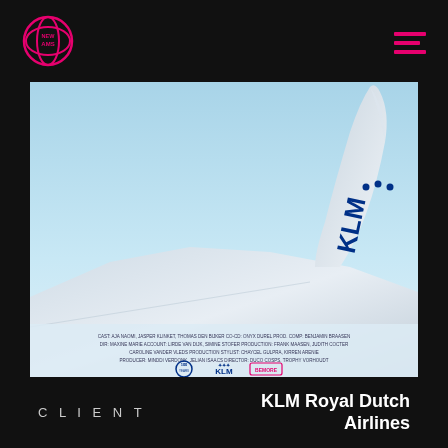NEW AMS
[Figure (photo): KLM airplane wing tip against blue sky, showing KLM logo and crown. At the bottom of the image there is small text listing crew/production credits and logos for KLM 100 anniversary, KLM, and Bemore.]
CLIENT
KLM Royal Dutch Airlines